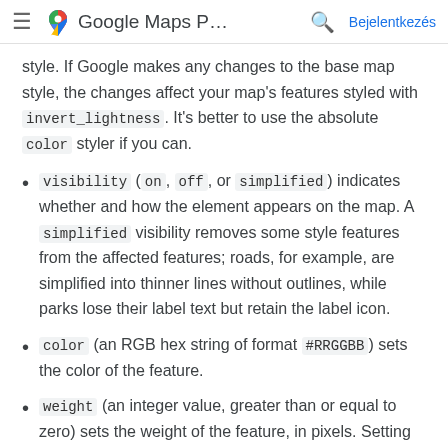Google Maps P... Bejelentkezés
style. If Google makes any changes to the base map style, the changes affect your map's features styled with invert_lightness. It's better to use the absolute color styler if you can.
visibility (on, off, or simplified) indicates whether and how the element appears on the map. A simplified visibility removes some style features from the affected features; roads, for example, are simplified into thinner lines without outlines, while parks lose their label text but retain the label icon.
color (an RGB hex string of format #RRGGBB) sets the color of the feature.
weight (an integer value, greater than or equal to zero) sets the weight of the feature, in pixels. Setting the weight to a high value may result in clipping near